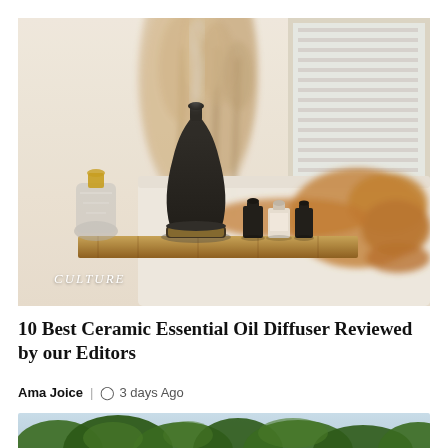[Figure (photo): A dark ceramic essential oil diffuser with mist rising from it, placed on a wooden bath tray alongside three small essential oil bottles and a glass soap dispenser with gold pump. A woman is visible in the background reclining in a bath with her eyes closed, in a serene bathroom setting with dried pampas grass. The word CULTURE appears in white italic text at bottom left of the image.]
10 Best Ceramic Essential Oil Diffuser Reviewed by our Editors
Ama Joice | 3 days Ago
[Figure (photo): Bottom portion of a second article image showing green trees against a light blue sky.]